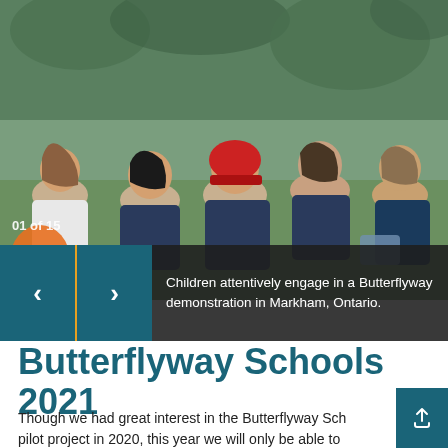[Figure (photo): Children sitting on grass outdoors, viewed from behind, attentively engaging in a Butterflyway demonstration in Markham, Ontario. Children are wearing navy, white, and casual clothing; one child has a red hat.]
Children attentively engage in a Butterflyway demonstration in Markham, Ontario.
Butterflyway Schools 2021
Though we had great interest in the Butterflyway Schools pilot project in 2020, this year we will only be able to